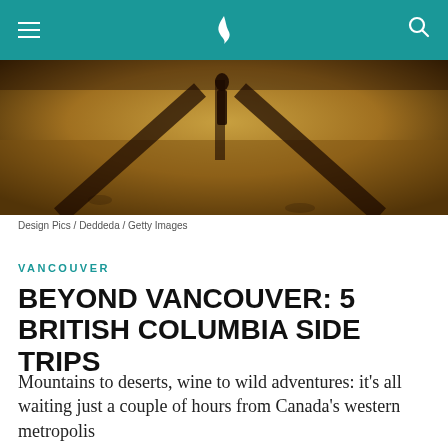[Figure (photo): Dark warm-toned photo of a person and their long shadow on a sandy beach at golden hour]
Design Pics / Deddeda / Getty Images
VANCOUVER
BEYOND VANCOUVER: 5 BRITISH COLUMBIA SIDE TRIPS
Mountains to deserts, wine to wild adventures: it’s all waiting just a couple of hours from Canada’s western metropolis